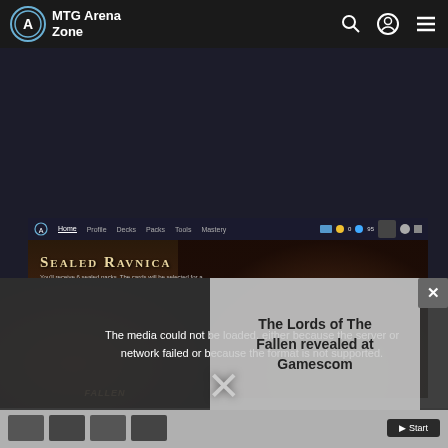MTG Arena Zone
[Figure (screenshot): MTG Arena game interface screenshot showing Sealed Ravnica event header with dark fantasy artwork]
[Figure (photo): Dark video player showing Lords of the Fallen game footage with error message overlay: The media could not be loaded, either because the server or network failed or because the format is not supported.]
The Lords of The Fallen revealed at Gamescom
The media could not be loaded, either because the server or network failed or because the format is not supported.